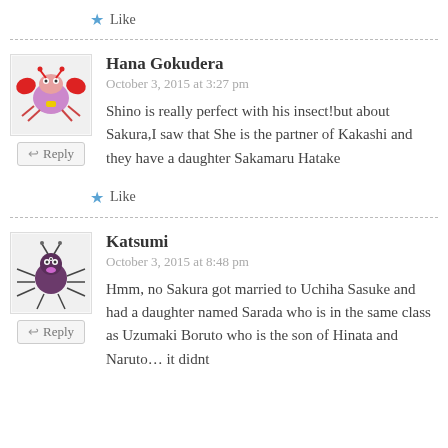Like
Hana Gokudera
October 3, 2015 at 3:27 pm
Shino is really perfect with his insect!but about Sakura,I saw that She is the partner of Kakashi and they have a daughter Sakamaru Hatake
Like
Katsumi
October 3, 2015 at 8:48 pm
Hmm, no Sakura got married to Uchiha Sasuke and had a daughter named Sarada who is in the same class as Uzumaki Boruto who is the son of Hinata and Naruto… it didnt